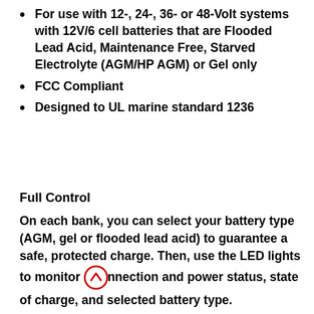For use with 12-, 24-, 36- or 48-Volt systems with 12V/6 cell batteries that are Flooded Lead Acid, Maintenance Free, Starved Electrolyte (AGM/HP AGM) or Gel only
FCC Compliant
Designed to UL marine standard 1236
Full Control
On each bank, you can select your battery type (AGM, gel or flooded lead acid) to guarantee a safe, protected charge. Then, use the LED lights to monitor connection and power status, state of charge, and selected battery type.